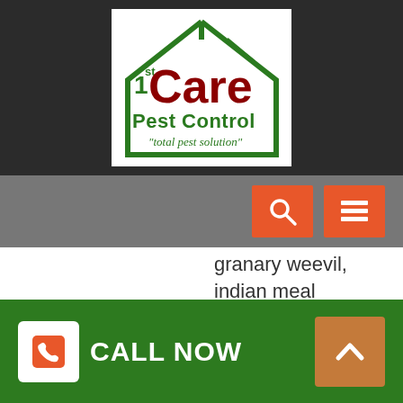[Figure (logo): 1st Care Pest Control logo — house outline in green with '1st Care Pest Control / total pest solution' text in dark red and green]
granary weevil, indian meal moths, sawtoothed grain beetles, silverfish, varied carpet beetles
Ground Beetles, Carpenter Beetles
Mosquitoes